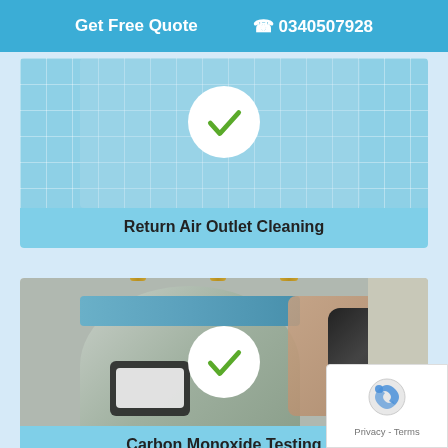Get Free Quote  📞 0340507928
[Figure (photo): Return Air Outlet Cleaning service card with a white tiled background and a green checkmark in a white circle, with a light blue banner showing the service name.]
Return Air Outlet Cleaning
[Figure (photo): Carbon Monoxide Testing service card showing a hand holding a gas detector near a water heater/boiler, with a green checkmark in a white circle overlay, and a light blue banner at the bottom.]
Carbon Monoxide Testing